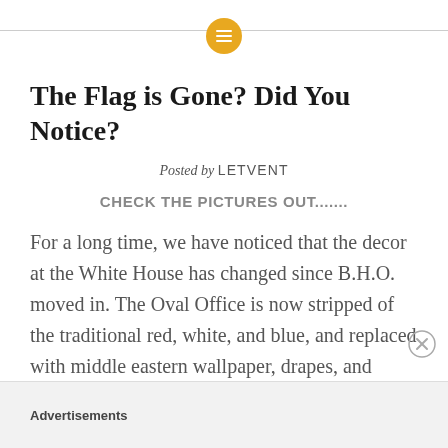[Figure (logo): Yellow circular icon with white horizontal lines (list/menu icon) on a horizontal divider line]
The Flag is Gone? Did You Notice?
Posted by LETVENT
CHECK THE PICTURES OUT.......
For a long time, we have noticed that the decor at the White House has changed since B.H.O. moved in. The Oval Office is now stripped of the traditional red, white, and blue, and replaced with middle eastern wallpaper, drapes, and
Advertisements